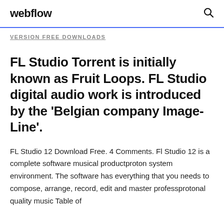webflow
VERSION FREE DOWNLOADS
FL Studio Torrent is initially known as Fruit Loops. FL Studio digital audio work is introduced by the 'Belgian company Image-Line'.
FL Studio 12 Download Free. 4 Comments. Fl Studio 12 is a complete software musical productproton system environment. The software has everything that you needs to compose, arrange, record, edit and master professprotonal quality music Table of